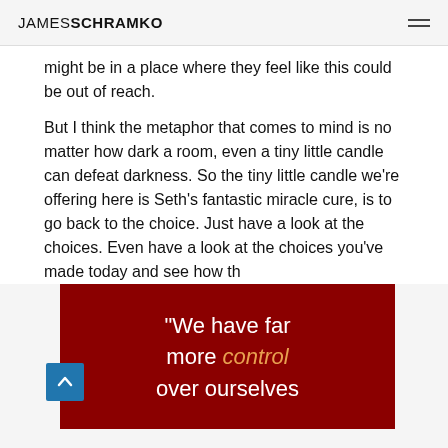JAMESSCHRAMKO
might be in a place where they feel like this could be out of reach.
But I think the metaphor that comes to mind is no matter how dark a room, even a tiny little candle can defeat darkness. So the tiny little candle we’re offering here is Seth’s fantastic miracle cure, is to go back to the choice. Just have a look at the choices. Even have a look at the choices you’ve made today and see how th
[Figure (illustration): Dark red/maroon quote card reading: “We have far more control over ourselves” where 'control' is in orange italic text on a dark red background.]